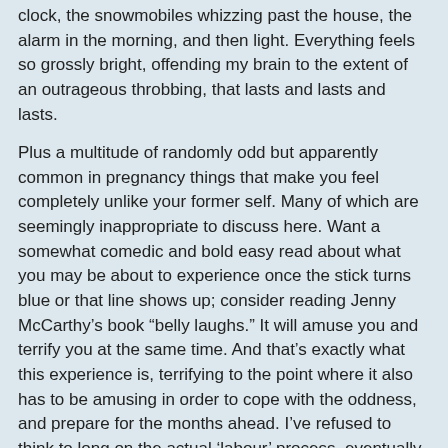clock, the snowmobiles whizzing past the house, the alarm in the morning, and then light. Everything feels so grossly bright, offending my brain to the extent of an outrageous throbbing, that lasts and lasts and lasts.
Plus a multitude of randomly odd but apparently common in pregnancy things that make you feel completely unlike your former self. Many of which are seemingly inappropriate to discuss here. Want a somewhat comedic and bold easy read about what you may be about to experience once the stick turns blue or that line shows up; consider reading Jenny McCarthy's book "belly laughs." It will amuse you and terrify you at the same time. And that's exactly what this experience is, terrifying to the point where it also has to be amusing in order to cope with the oddness, and prepare for the months ahead. I've refused to think to long on the actual 'labour' process, eventually I'll have to face the reality of it, until then I'll continue force feeding myself toast and potato, praying for a relief to my diet, or any of the odd eccentricities that are apparently often associated with pregnancy. Little did I know.
Crystal Card at 1:30 PM